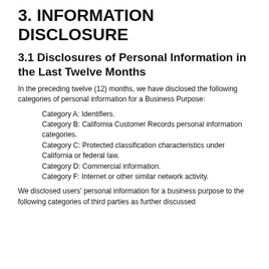3. INFORMATION DISCLOSURE
3.1 Disclosures of Personal Information in the Last Twelve Months
In the preceding twelve (12) months, we have disclosed the following categories of personal information for a Business Purpose:
Category A: Identifiers.
Category B: California Customer Records personal information categories.
Category C: Protected classification characteristics under California or federal law.
Category D: Commercial information.
Category F: Internet or other similar network activity.
We disclosed users' personal information for a business purpose to the following categories of third parties as further discussed